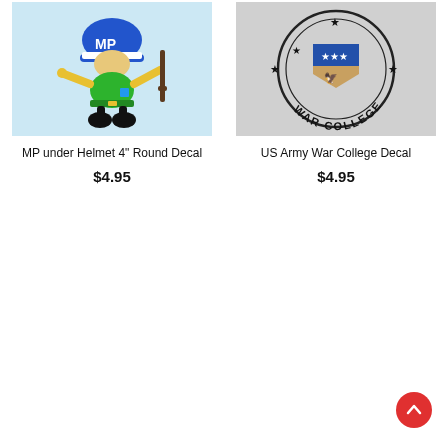[Figure (illustration): MP under Helmet cartoon character in blue helmet with MP text, green body, yellow arms holding a rifle, black boots, on light blue background]
MP under Helmet 4" Round Decal
$4.95
[Figure (illustration): US Army War College official seal/decal showing circular emblem with stars, eagle crest, and text WAR COLLEGE on grey background]
US Army War College Decal
$4.95